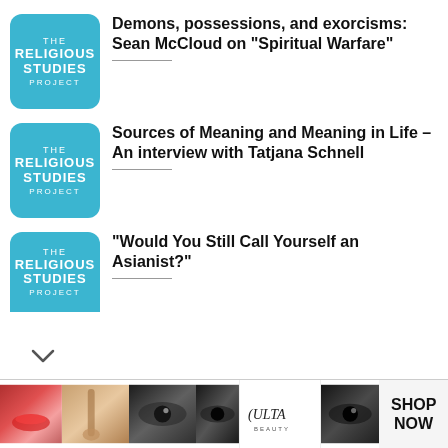[Figure (logo): The Religious Studies Project logo - light blue rounded square with white text]
Demons, possessions, and exorcisms: Sean McCloud on “Spiritual Warfare”
[Figure (logo): The Religious Studies Project logo - light blue rounded square with white text]
Sources of Meaning and Meaning in Life – An interview with Tatjana Schnell
[Figure (logo): The Religious Studies Project logo - light blue rounded square with white text (partially cropped)]
“Would You Still Call Yourself an Asianist?”
[Figure (photo): ULTA beauty advertisement banner with makeup photos and SHOP NOW text]